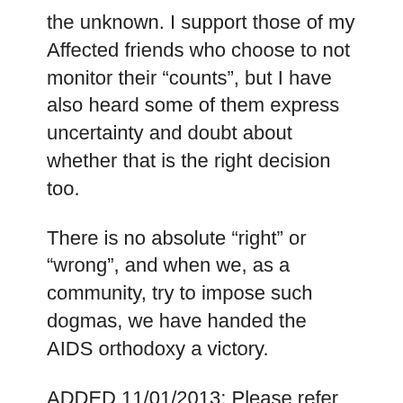the unknown. I support those of my Affected friends who choose to not monitor their “counts”, but I have also heard some of them express uncertainty and doubt about whether that is the right decision too.
There is no absolute “right” or “wrong”, and when we, as a community, try to impose such dogmas, we have handed the AIDS orthodoxy a victory.
ADDED 11/01/2013: Please refer to more recent charts of my CD4 counts on the “attachments” tab above. You might also want to read AIDS Treatment Guidelines: Deify or Defy?